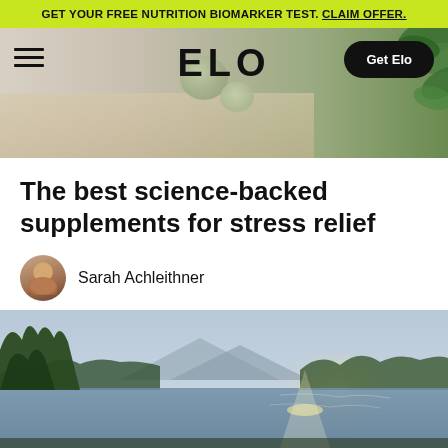GET YOUR FREE NUTRITION BIOMARKER TEST. CLAIM OFFER.
[Figure (screenshot): ELO website navigation bar with hamburger menu on left, ELO logo in center, 'Get Elo' button on right, with decorative stones and green herbs in background]
The best science-backed supplements for stress relief
Sarah Achleithner
5 mins
[Figure (photo): Serene landscape photo with a lake, mountain in background, trees with sunlight filtering through, misty atmosphere]